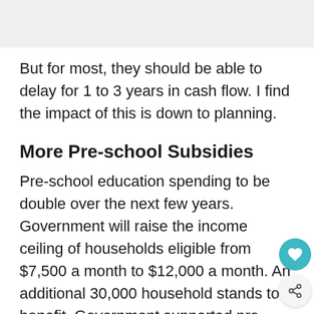But for most, they should be able to delay for 1 to 3 years in cash flow. I find the impact of this is down to planning.
More Pre-school Subsidies
Pre-school education spending to be double over the next few years. Government will raise the income ceiling of households eligible from $7,500 a month to $12,000 a month. An additional 30,000 household stands to benefit. Government supported pre-school to be increased from 50% to